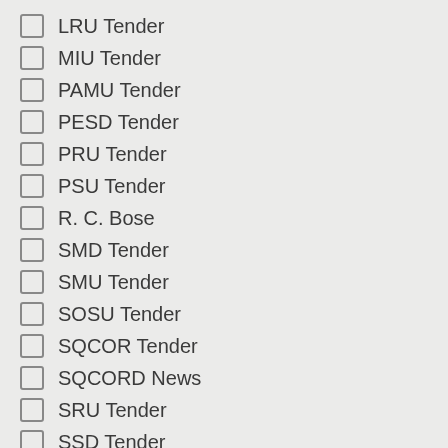LRU Tender
MIU Tender
PAMU Tender
PESD Tender
PRU Tender
PSU Tender
R. C. Bose
SMD Tender
SMU Tender
SOSU Tender
SQCOR Tender
SQCORD News
SRU Tender
SSD Tender
Submit